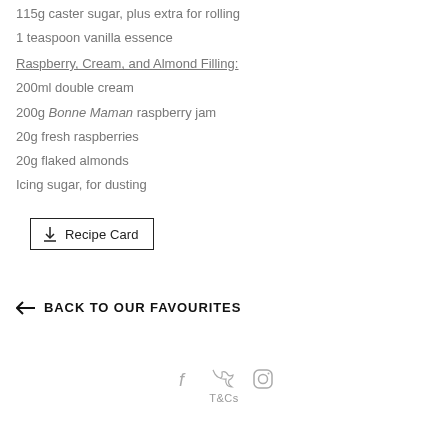115g caster sugar, plus extra for rolling
1 teaspoon vanilla essence
Raspberry, Cream, and Almond Filling:
200ml double cream
200g Bonne Maman raspberry jam
20g fresh raspberries
20g flaked almonds
Icing sugar, for dusting
[Figure (other): Recipe Card download button with download icon]
← BACK TO OUR FAVOURITES
[Figure (other): Social media icons: Facebook, Twitter, Instagram]
T&Cs